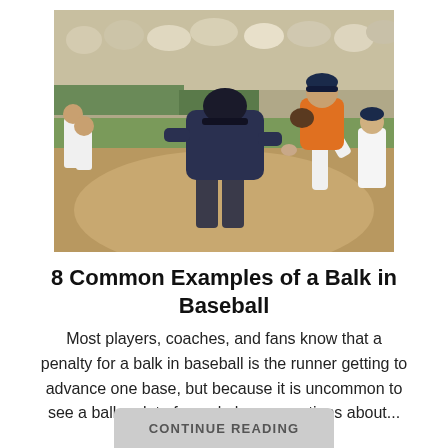[Figure (photo): Baseball umpire seen from behind on the field, with a pitcher in an orange jersey in the background mid-windup, and other players and fans visible]
8 Common Examples of a Balk in Baseball
Most players, coaches, and fans know that a penalty for a balk in baseball is the runner getting to advance one base, but because it is uncommon to see a balk, a lot of people have questions about...
CONTINUE READING